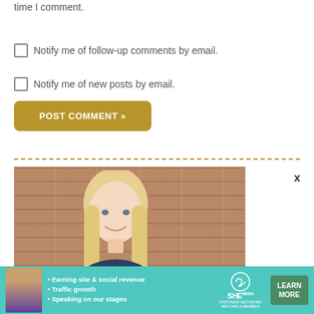time I comment.
Notify me of follow-up comments by email.
Notify me of new posts by email.
POST COMMENT »
[Figure (photo): Photo of a young blonde woman smiling in front of a brick wall]
[Figure (infographic): SHE Partner Network advertisement banner with woman, bullet points about earning site & social revenue, traffic growth, speaking on stages, and a Learn More button]